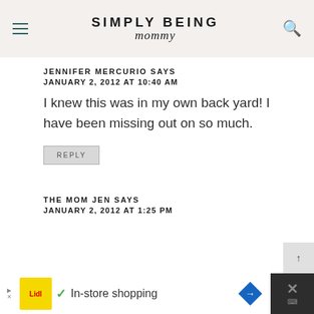SIMPLY BEING mommy
JENNIFER MERCURIO SAYS
JANUARY 2, 2012 AT 10:40 AM
I knew this was in my own back yard! I have been missing out on so much.
REPLY
THE MOM JEN SAYS
JANUARY 2, 2012 AT 1:25 PM
[Figure (other): Advertisement banner: Lidl ad with checkmark and 'In-store shopping' text, navigation arrow icon, and close button]